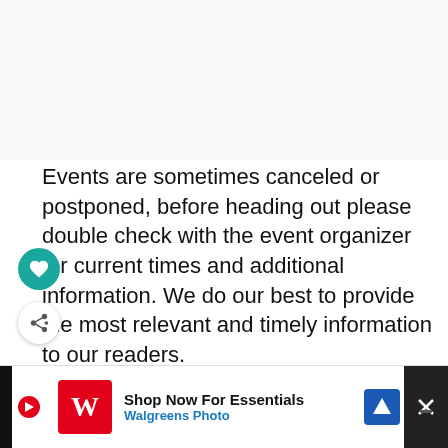[Figure (other): Blank/white top section of webpage, possibly an image placeholder or advertisement area]
Events are sometimes canceled or postponed, before heading out please double check with the event organizer for current times and additional information. We do our best to provide the most relevant and timely information to our readers.
Fa
Events are posted on Jersey Family Fun with information from various sources; as well as submissions from event organizers. not all
[Figure (other): Walgreens advertisement banner: 'Shop Now For Essentials / Walgreens Photo' with play button, navigation icon, and close button]